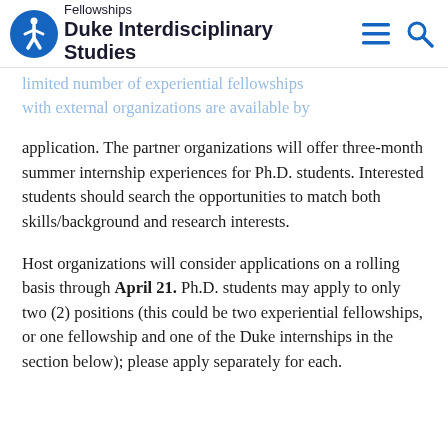Fellowships / Duke Interdisciplinary Studies
limited number of experiential fellowships with external organizations are available by application. The partner organizations will offer three-month summer internship experiences for Ph.D. students. Interested students should search the opportunities to match both skills/background and research interests.
Host organizations will consider applications on a rolling basis through April 21. Ph.D. students may apply to only two (2) positions (this could be two experiential fellowships, or one fellowship and one of the Duke internships in the section below); please apply separately for each.